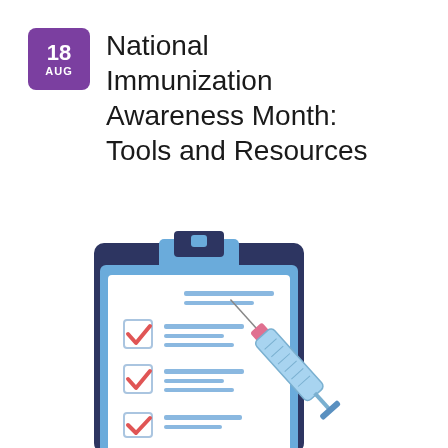18 AUG National Immunization Awareness Month: Tools and Resources
[Figure (illustration): Illustration of a clipboard with a checklist showing three checked checkboxes with red checkmarks and blue horizontal lines as text, overlaid with a medical syringe/vaccine needle in blue and pink]